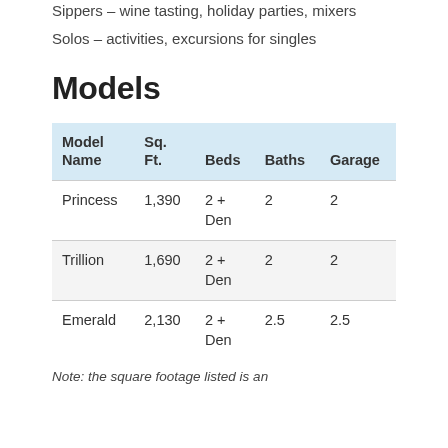Sippers – wine tasting, holiday parties, mixers
Solos – activities, excursions for singles
Models
| Model Name | Sq. Ft. | Beds | Baths | Garage |
| --- | --- | --- | --- | --- |
| Princess | 1,390 | 2 + Den | 2 | 2 |
| Trillion | 1,690 | 2 + Den | 2 | 2 |
| Emerald | 2,130 | 2 + Den | 2.5 | 2.5 |
Note: the square footage listed is an